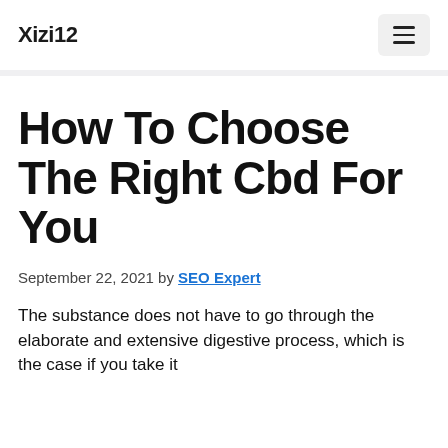Xizi12
How To Choose The Right Cbd For You
September 22, 2021 by SEO Expert
The substance does not have to go through the elaborate and extensive digestive process, which is the case if you take it